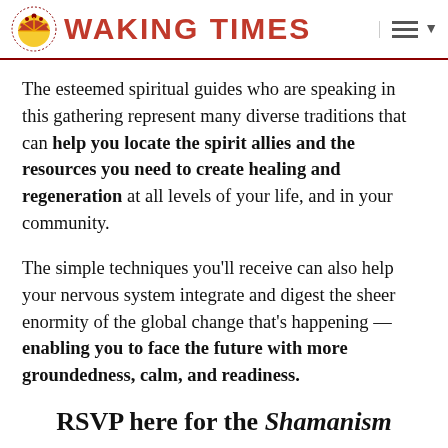WAKING TIMES
The esteemed spiritual guides who are speaking in this gathering represent many diverse traditions that can help you locate the spirit allies and the resources you need to create healing and regeneration at all levels of your life, and in your community.
The simple techniques you’ll receive can also help your nervous system integrate and digest the sheer enormity of the global change that’s happening — enabling you to face the future with more groundedness, calm, and readiness.
RSVP here for the Shamanism